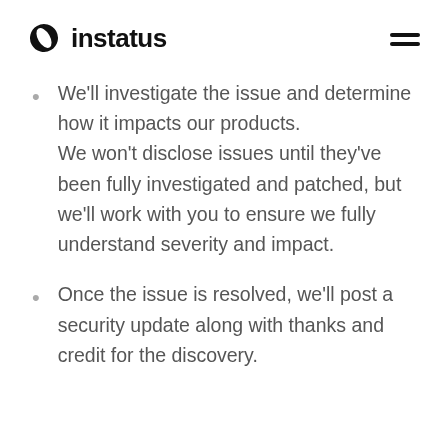instatus
We'll investigate the issue and determine how it impacts our products. We won't disclose issues until they've been fully investigated and patched, but we'll work with you to ensure we fully understand severity and impact.
Once the issue is resolved, we'll post a security update along with thanks and credit for the discovery.